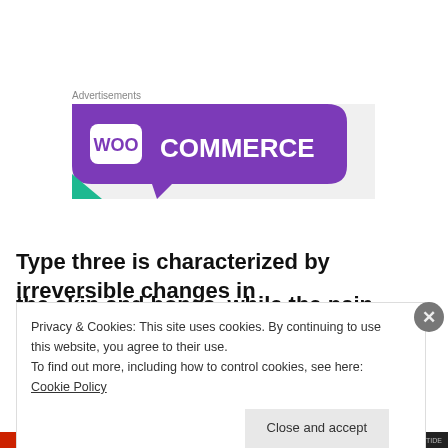Advertisements
[Figure (logo): WooCommerce advertisement banner with purple speech-bubble shape and teal accent on light gray background]
Type three is characterized by irreversible changes in the skin and bones, while the pain becomes
Privacy & Cookies: This site uses cookies. By continuing to use this website, you agree to their use.
To find out more, including how to control cookies, see here: Cookie Policy
Close and accept